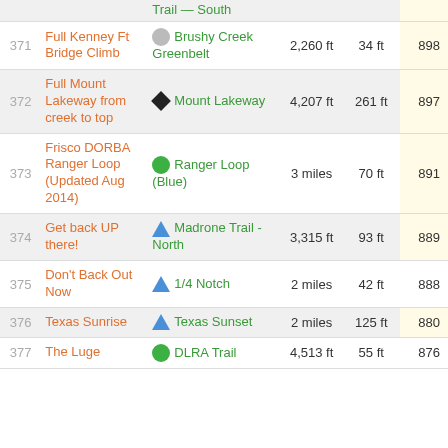| # | Name | Trail | Distance | Elevation | Score |
| --- | --- | --- | --- | --- | --- |
|  | Trail — South |  |  |  |  |
| 371 | Full Kenney Ft Bridge Climb | Brushy Creek Greenbelt | 2,260 ft | 34 ft | 898 |
| 372 | Full Mount Lakeway from creek to top | Mount Lakeway | 4,207 ft | 261 ft | 897 |
| 373 | Frisco DORBA Ranger Loop (Updated Aug 2014) | Ranger Loop (Blue) | 3 miles | 70 ft | 891 |
| 374 | Get back UP there! | Madrone Trail - North | 3,315 ft | 93 ft | 889 |
| 375 | Don't Back Out Now | 1/4 Notch | 2 miles | 42 ft | 888 |
| 376 | Texas Sunrise | Texas Sunset | 2 miles | 125 ft | 880 |
| 377 | The Luge | DLRA Trail | 4,513 ft | 55 ft | 876 |